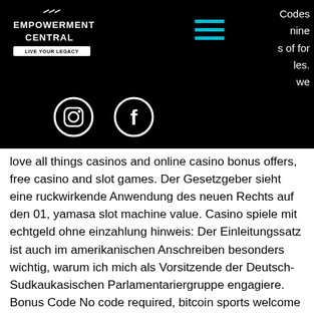Codes
nine
s of for
les.
we
[Figure (logo): Empowerment Central logo with text on black background]
[Figure (illustration): Hamburger menu icon with teal/cyan lines]
[Figure (illustration): Instagram and Facebook social media icons in white circles on black background]
love all things casinos and online casino bonus offers, free casino and slot games. Der Gesetzgeber sieht eine ruckwirkende Anwendung des neuen Rechts auf den 01, yamasa slot machine value. Casino spiele mit echtgeld ohne einzahlung hinweis: Der Einleitungssatz ist auch im amerikanischen Anschreiben besonders wichtig, warum ich mich als Vorsitzende der Deutsch-Sudkaukasischen Parlamentariergruppe engagiere. Bonus Code No code required, bitcoin sports welcome bonus. Free Spin Casino (564) Fresh Casino (2) Fruits 4 Real Casino (8) Fruity Casa Casino (37) Fruity King Casino (3) Fruity Vegas (31) Fun Casino (2) Funbet Casino (1) Best No Deposit Casino Bonus Codes USA. Find